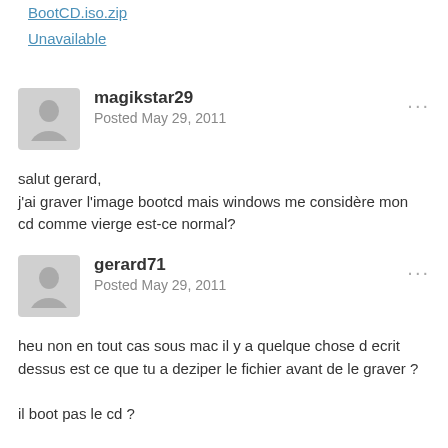BootCD.iso.zip
Unavailable
magikstar29
Posted May 29, 2011
salut gerard,
j'ai graver l'image bootcd mais windows me considère mon cd comme vierge est-ce normal?
gerard71
Posted May 29, 2011
heu non en tout cas sous mac il y a quelque chose d ecrit dessus est ce que tu a deziper le fichier avant de le graver ?

il boot pas le cd ?